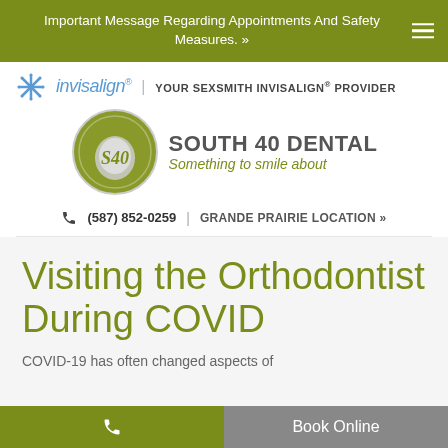Important Message Regarding Appointments And Safety Measures. »
[Figure (logo): Invisalign logo with snowflake icon and text 'invisalign®', followed by text 'YOUR SEXSMITH INVISALIGN® PROVIDER']
[Figure (logo): South 40 Dental logo — circular olive/grey emblem with stylized tooth and initials 'S40', beside text 'SOUTH 40 DENTAL Something to smile about']
📞 (587) 852-0259  |  GRANDE PRAIRIE LOCATION »
Visiting the Orthodontist During COVID
COVID-19 has often changed aspects of
📞  |  Book Online